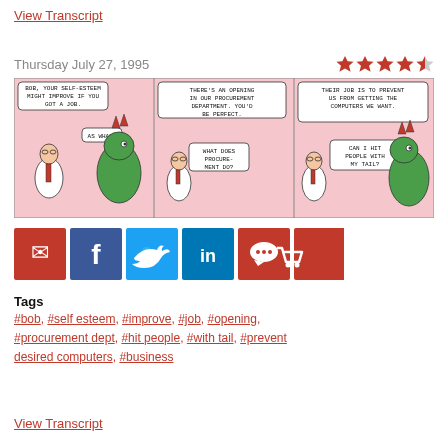View Transcript
Thursday July 27, 1995
[Figure (illustration): Three-panel Dilbert comic strip dated July 27, 1995. Panel 1: Dilbert talks to a dinosaur-like creature, says 'Bob, your self-esteem might improve if you got a job.' The creature replies 'As what?' Panel 2: Dilbert says 'There's an opening in our procurement department. You'd be perfect.' The creature says 'What does procurement do?' Panel 3: Dilbert says 'Their job is to prevent us from getting the computers we want.' The creature says 'Can I hit people with my tail?']
[Figure (infographic): Social sharing buttons: email (red), Facebook (blue), Twitter (blue), LinkedIn (blue), comment (red), shopping cart (red)]
Tags
#bob, #self esteem, #improve, #job, #opening, #procurement dept, #hit people, #with tail, #prevent desired computers, #business
View Transcript